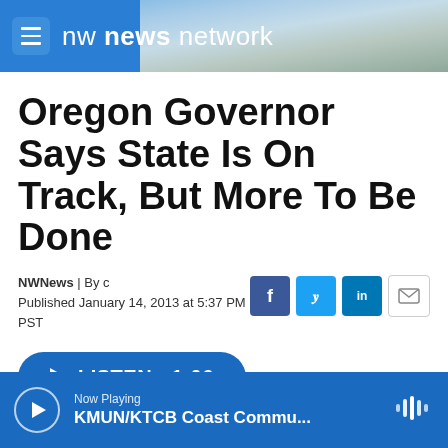nw news network
Oregon Governor Says State Is On Track, But More To Be Done
NWNews | By c
Published January 14, 2013 at 5:37 PM PST
LISTEN • 1:06
Now Playing
KMUN/KTCB Coast Commu...